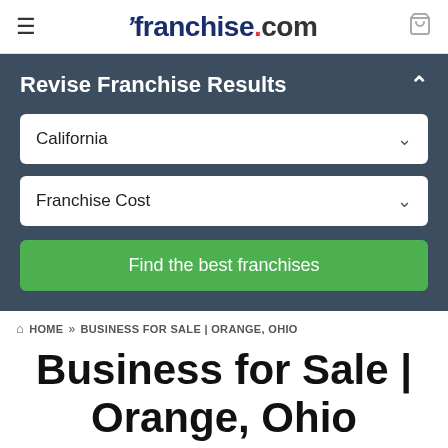franchise.com
Revise Franchise Results
California
Franchise Cost
Find the best franchises
HOME » BUSINESS FOR SALE | ORANGE, OHIO
Business for Sale | Orange, Ohio
Discover business opportunities, in or around Orange, with